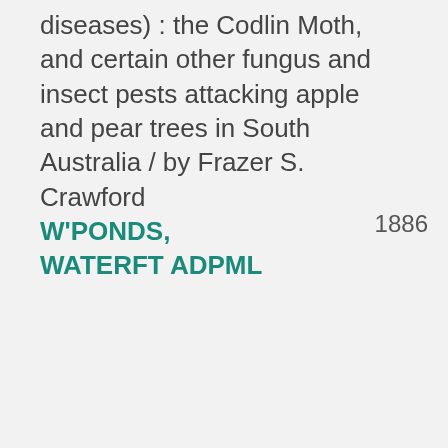diseases) : the Codlin Moth, and certain other fungus and insect pests attacking apple and pear trees in South Australia / by Frazer S. Crawford
1886
W'PONDS, WATERFT ADPML
Report on the Fusicladiums (Black spot, scab and mildew diseases) : the Codlin Moth, and
[Figure (illustration): Book icon in teal/green color with the label 'BOOK' below it]